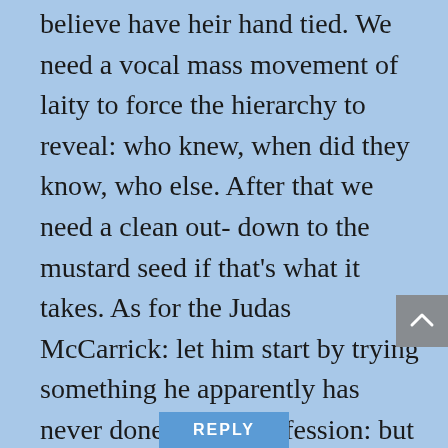believe have heir hand tied. We need a vocal mass movement of laity to force the hierarchy to reveal: who knew, when did they know, who else. After that we need a clean out- down to the mustard seed if that's what it takes. As for the Judas McCarrick: let him start by trying something he apparently has never done: a full confession: but this time to all of us. John 3:16